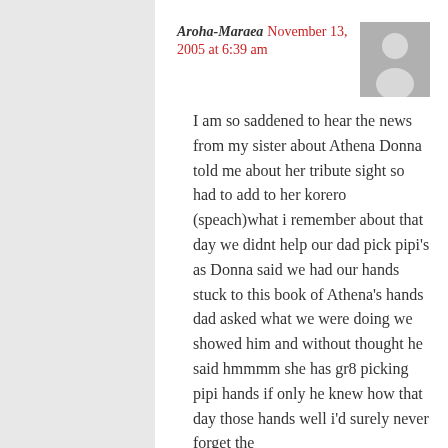Aroha-Maraea November 13, 2005 at 6:39 am
[Figure (illustration): Placeholder avatar image showing a generic person silhouette on a grey background]
I am so saddened to hear the news from my sister about Athena Donna told me about her tribute sight so had to add to her korero (speach)what i remember about that day we didnt help our dad pick pipi's as Donna said we had our hands stuck to this book of Athena's hands dad asked what we were doing we showed him and without thought he said hmmmm she has gr8 picking pipi hands if only he knew how that day those hands well i'd surely never forget the